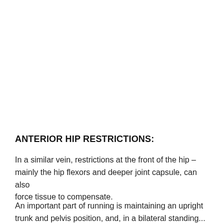ANTERIOR HIP RESTRICTIONS:
In a similar vein, restrictions at the front of the hip – mainly the hip flexors and deeper joint capsule, can also force tissue to compensate.
An important part of running is maintaining an upright trunk and pelvis position, and, in a bilateral standing...